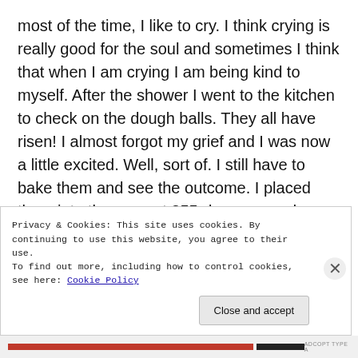most of the time, I like to cry. I think crying is really good for the soul and sometimes I think that when I am crying I am being kind to myself. After the shower I went to the kitchen to check on the dough balls. They all have risen! I almost forgot my grief and I was now a little excited. Well, sort of. I still have to bake them and see the outcome. I placed them into the oven at 355-degrees, and eighteen minutes later is going to be the moment of truth.

If they don't turn out okay, I can always make them
Privacy & Cookies: This site uses cookies. By continuing to use this website, you agree to their use.
To find out more, including how to control cookies, see here: Cookie Policy

Close and accept